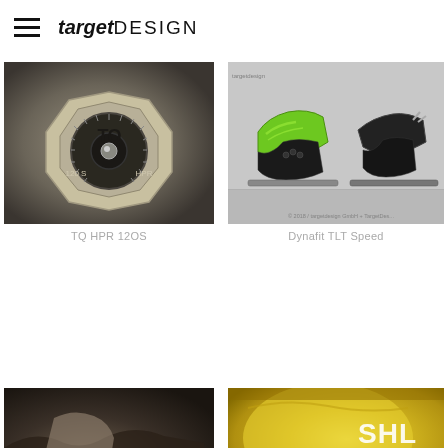targetDESIGN
[Figure (photo): 3D render of TQ HPR 12OS circular cycling motor/device, silver/gold octagonal housing with TQ logo and HPR markings]
TQ HPR 12OS
[Figure (photo): Dynafit TLT Speed ski binding design sketch/render showing green and black ski binding components on gray background]
Dynafit TLT Speed
[Figure (photo): Partial view of person using device, dark toned photo, bottom left grid cell]
[Figure (photo): Partial view of yellow/gold helmet or equipment with SHL text visible, bottom right grid cell]